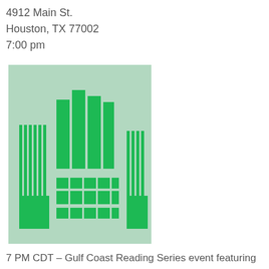4912 Main St.
Houston, TX 77002
7:00 pm
[Figure (logo): Stylized graphic on light green background featuring abstract green vertical bars and rectangular block patterns resembling a building or bar chart logo]
7 PM CDT - Gulf Coast Reading Series event featuring